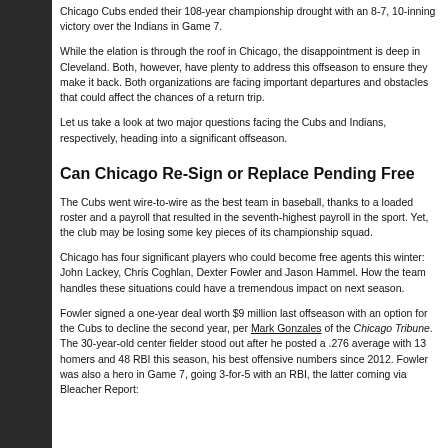Chicago Cubs ended their 108-year championship drought with an 8-7, 10-inning victory over the Indians in Game 7.
While the elation is through the roof in Chicago, the disappointment is deep in Cleveland. Both, however, have plenty to address this offseason to ensure they make it back. Both organizations are facing important departures and obstacles that could affect the chances of a return trip.
Let us take a look at two major questions facing the Cubs and Indians, respectively, heading into a significant offseason.
Can Chicago Re-Sign or Replace Pending Free
The Cubs went wire-to-wire as the best team in baseball, thanks to a loaded roster and a payroll that resulted in the seventh-highest payroll in the sport. Yet, the club may be losing some key pieces of its championship squad.
Chicago has four significant players who could become free agents this winter: John Lackey, Chris Coghlan, Dexter Fowler and Jason Hammel. How the team handles these situations could have a tremendous impact on next season.
Fowler signed a one-year deal worth $9 million last offseason with an option for the Cubs to decline the second year, per Mark Gonzales of the Chicago Tribune. The 30-year-old center fielder stood out after he posted a .276 average with 13 homers and 48 RBI this season, his best offensive numbers since 2012. Fowler was also a hero in Game 7, going 3-for-5 with an RBI, the latter coming via Bleacher Report: